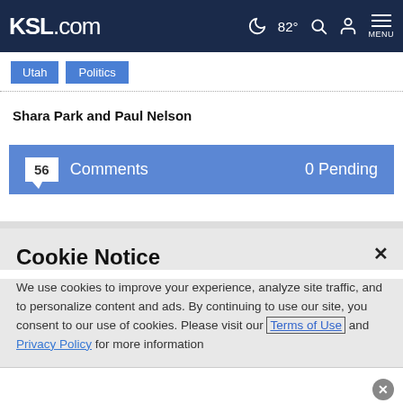KSL.com  82°  MENU
Utah
Politics
Shara Park and Paul Nelson
56 Comments  0 Pending
Cookie Notice
We use cookies to improve your experience, analyze site traffic, and to personalize content and ads. By continuing to use our site, you consent to our use of cookies. Please visit our Terms of Use and Privacy Policy for more information